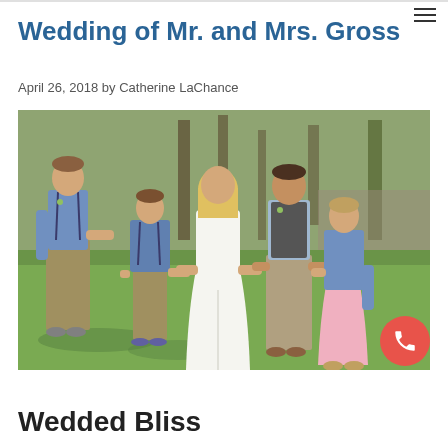Wedding of Mr. and Mrs. Gross
April 26, 2018 by Catherine LaChance
[Figure (photo): A wedding party of five people standing outdoors on a grassy lawn with trees in the background. From left to right: a teenage boy in a blue shirt with suspenders and khaki pants, a young boy in a denim jacket with suspenders, a bride in a white lace dress, a groom in a vest and khaki pants, and a girl in a denim jacket and pink skirt. They are holding hands and smiling at each other.]
Wedded Bliss